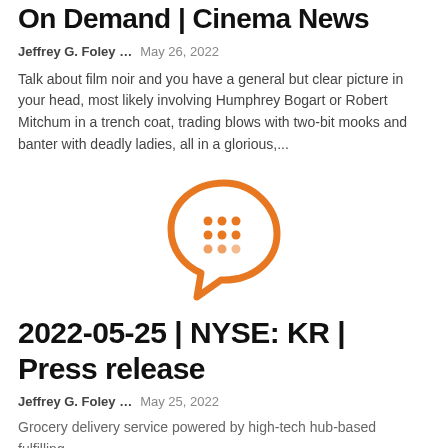On Demand | Cinema News
Jeffrey G. Foley …    May 26, 2022
Talk about film noir and you have a general but clear picture in your head, most likely involving Humphrey Bogart or Robert Mitchum in a trench coat, trading blows with two-bit mooks and banter with deadly ladies, all in a glorious,...
[Figure (logo): Orange ghost/chat bubble logo icon with orange dots arranged in a grid pattern inside]
2022-05-25 | NYSE: KR | Press release
Jeffrey G. Foley …    May 25, 2022
Grocery delivery service powered by high-tech hub-based fulfilling...